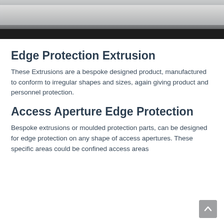[Figure (photo): Partial view of a dark industrial/mechanical component, likely edge protection extrusion, photographed close-up showing a dark strip against a grey background.]
Edge Protection Extrusion
These Extrusions are a bespoke designed product, manufactured to conform to irregular shapes and sizes, again giving product and personnel protection.
Access Aperture Edge Protection
Bespoke extrusions or moulded protection parts, can be designed for edge protection on any shape of access apertures. These specific areas could be confined access areas